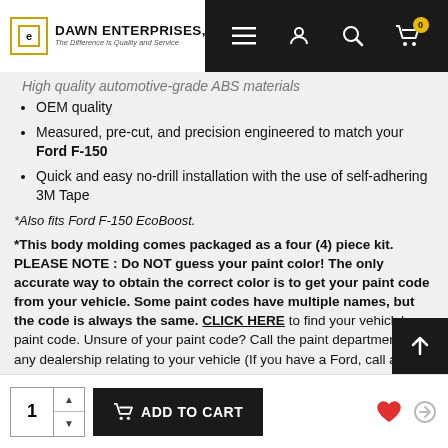[Figure (screenshot): Dawn Enterprises Inc. e-commerce website navigation bar with logo on white background and dark navigation icons (hamburger menu, account, search, cart with badge showing 0) on black background]
High quality automotive-grade ABS materials (partially visible, struck through)
OEM quality
Measured, pre-cut, and precision engineered to match your Ford F-150
Quick and easy no-drill installation with the use of self-adhering 3M Tape
*Also fits Ford F-150 EcoBoost.
*This body molding comes packaged as a four (4) piece kit. PLEASE NOTE : Do NOT guess your paint color! The only accurate way to obtain the correct color is to get your paint code from your vehicle. Some paint codes have multiple names, but the code is always the same. CLICK HERE to find your vehicle's paint code. Unsure of your paint code? Call the paint department at any dealership relating to your vehicle (If you have a Ford, call a Ford dealership) and give them your VIN#.
[Figure (screenshot): Scroll to top button — dark square with upward arrow icon]
1  ADD TO CART
[Figure (screenshot): Bottom bar with quantity selector showing 1, Add to Cart button, heart (wishlist) icon in red, and compare icon]